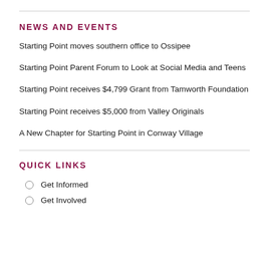NEWS AND EVENTS
Starting Point moves southern office to Ossipee
Starting Point Parent Forum to Look at Social Media and Teens
Starting Point receives $4,799 Grant from Tamworth Foundation
Starting Point receives $5,000 from Valley Originals
A New Chapter for Starting Point in Conway Village
QUICK LINKS
Get Informed
Get Involved